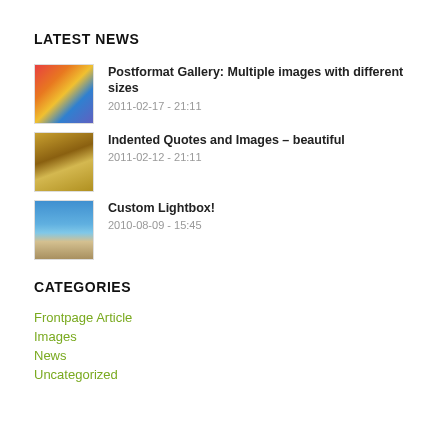LATEST NEWS
Postformat Gallery: Multiple images with different sizes
2011-02-17 - 21:11
Indented Quotes and Images – beautiful
2011-02-12 - 21:11
Custom Lightbox!
2010-08-09 - 15:45
CATEGORIES
Frontpage Article
Images
News
Uncategorized